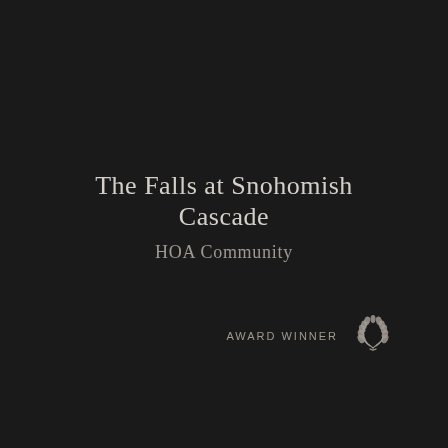The Falls at Snohomish Cascade
HOA Community
AWARD WINNER